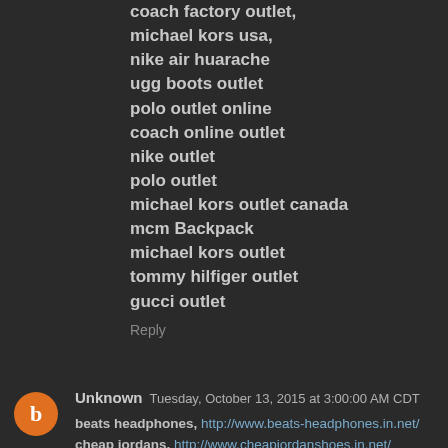coach factory outlet,
michael kors usa,
nike air huarache
ugg boots outlet
polo outlet online
coach online outlet
nike outlet
polo outlet
michael kors outlet canada
mcm Backpack
michael kors outlet
tommy hilfiger outlet
gucci outlet
Reply
Unknown  Tuesday, October 13, 2015 at 3:00:00 AM CDT
beats headphones, http://www.beats-headphones.in.net/
cheap jordans, http://www.cheapjordanshoes.in.net/
louis vuitton handbags, http://www.louisvuittonhandbags.org.uk/
replica watches,